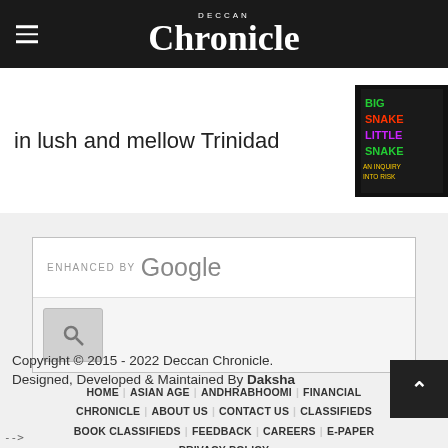Deccan Chronicle
in lush and mellow Trinidad
[Figure (photo): Book cover with colorful snake/little snake text on dark background]
[Figure (screenshot): Google search box enhanced by Google with search button]
HOME | ASIAN AGE | ANDHRABHOOMI | FINANCIAL CHRONICLE | ABOUT US | CONTACT US | CLASSIFIEDS | BOOK CLASSIFIEDS | FEEDBACK | CAREERS | E-PAPER | PRIVACY POLICY
Copyright © 2015 - 2022 Deccan Chronicle. Designed, Developed & Maintained By Daksha
-->